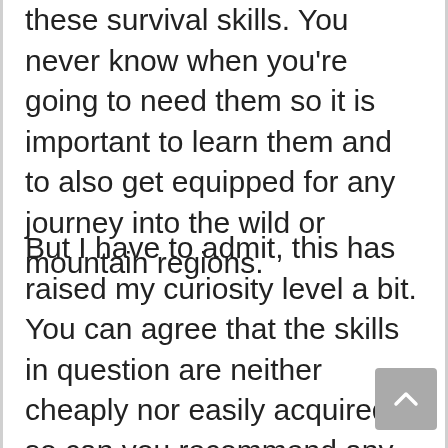these survival skills. You never know when you're going to need them so it is important to learn them and to also get equipped for any journey into the wild or mountain regions.
But I have to admit, this has raised my curiosity level a bit. You can agree that the skills in question are neither cheaply nor easily acquired, so can you recommend any particular training that covers the basic of these survival skills?